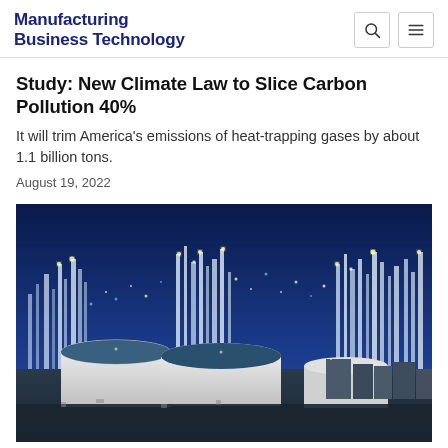Manufacturing Business Technology
Study: New Climate Law to Slice Carbon Pollution 40%
It will trim America's emissions of heat-trapping gases by about 1.1 billion tons.
August 19, 2022
[Figure (photo): Aerial night view of an industrial petrochemical refinery or chemical plant with large white storage tanks in the foreground and illuminated towers and structures in the background against a dark blue night sky.]